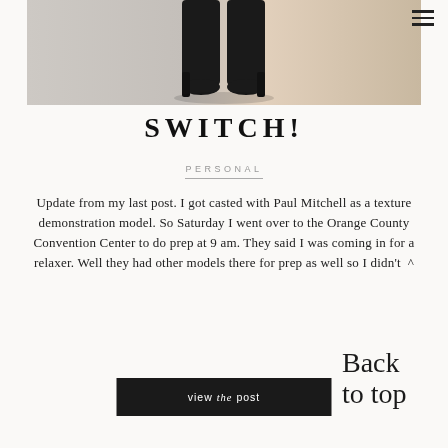[Figure (photo): Cropped photo showing black high-heel boots against a light beige/grey background]
SWITCH!
PERSONAL
Update from my last post. I got casted with Paul Mitchell as a texture demonstration model. So Saturday I went over to the Orange County Convention Center to do prep at 9 am. They said I was coming in for a relaxer. Well they had other models there for prep as well so I didn't  ^
view the post
Back to top